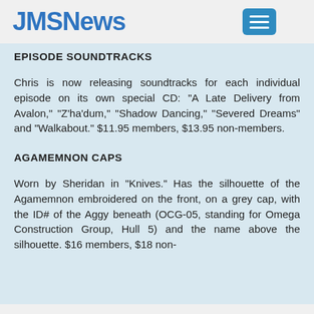JMSNews
EPISODE SOUNDTRACKS
Chris is now releasing soundtracks for each individual episode on its own special CD: "A Late Delivery from Avalon," "Z'ha'dum," "Shadow Dancing," "Severed Dreams" and "Walkabout." $11.95 members, $13.95 non-members.
AGAMEMNON CAPS
Worn by Sheridan in "Knives." Has the silhouette of the Agamemnon embroidered on the front, on a grey cap, with the ID# of the Aggy beneath (OCG-05, standing for Omega Construction Group, Hull 5) and the name above the silhouette. $16 members, $18 non-